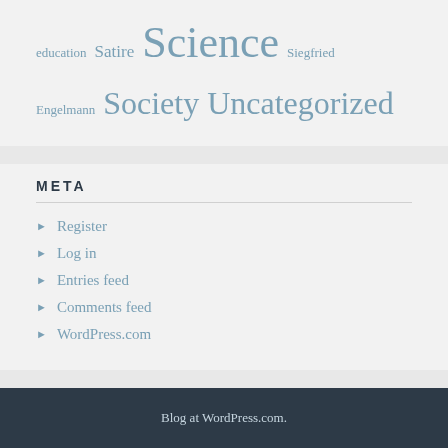education  Satire  Science  Siegfried Engelmann  Society  Uncategorized
META
Register
Log in
Entries feed
Comments feed
WordPress.com
Blog at WordPress.com.